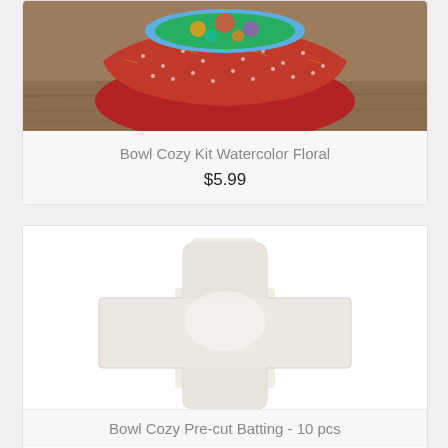[Figure (photo): Partial view of a bowl cozy in red fabric with small white dot pattern and colorful floral interior, sitting on a wooden surface.]
Bowl Cozy Kit Watercolor Floral
$5.99
[Figure (photo): A flat, cross/flower-shaped pre-cut batting piece in off-white/cream color, with four rounded square lobes meeting in the center, photographed on a white background.]
Bowl Cozy Pre-cut Batting - 10 pcs